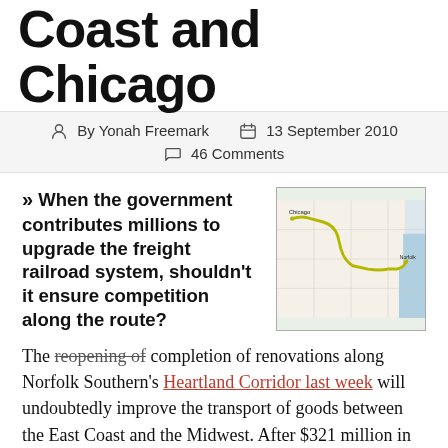Coast and Chicago
By Yonah Freemark   13 September 2010   46 Comments
» When the government contributes millions to upgrade the freight railroad system, shouldn't it ensure competition along the route?
[Figure (map): Map showing the Heartland Corridor route from the East Coast to Chicago, with a highlighted yellow/green route overlay on a road/rail map.]
The reopening of completion of renovations along Norfolk Southern's Heartland Corridor last week will undoubtedly improve the transport of goods between the East Coast and the Midwest. After $321 million in